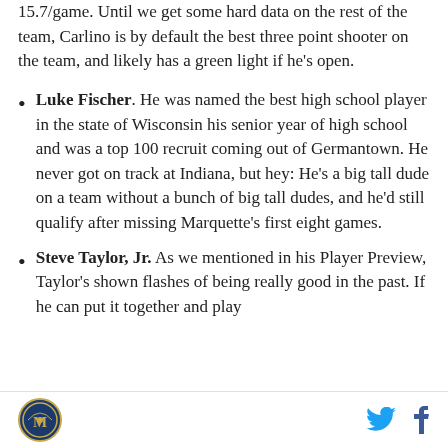15.7/game. Until we get some hard data on the rest of the team, Carlino is by default the best three point shooter on the team, and likely has a green light if he's open.
Luke Fischer. He was named the best high school player in the state of Wisconsin his senior year of high school and was a top 100 recruit coming out of Germantown. He never got on track at Indiana, but hey: He's a big tall dude on a team without a bunch of big tall dudes, and he'd still qualify after missing Marquette's first eight games.
Steve Taylor, Jr. As we mentioned in his Player Preview, Taylor's shown flashes of being really good in the past. If he can put it together and play